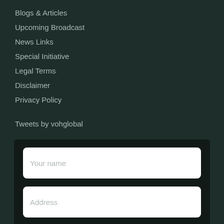Blogs & Articles
Upcoming Broadcast
News Links
Special Initiative
Legal Terms
Disclaimer
Privacy Policy
Tweets by vohglobal
[Figure (screenshot): A contact form section with three visible input fields labeled: Your name, Address, Company. Dark background container.]